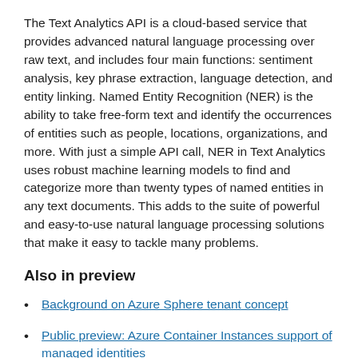The Text Analytics API is a cloud-based service that provides advanced natural language processing over raw text, and includes four main functions: sentiment analysis, key phrase extraction, language detection, and entity linking. Named Entity Recognition (NER) is the ability to take free-form text and identify the occurrences of entities such as people, locations, organizations, and more. With just a simple API call, NER in Text Analytics uses robust machine learning models to find and categorize more than twenty types of named entities in any text documents. This adds to the suite of powerful and easy-to-use natural language processing solutions that make it easy to tackle many problems.
Also in preview
Background on Azure Sphere tenant concept
Public preview: Azure Container Instances support of managed identities